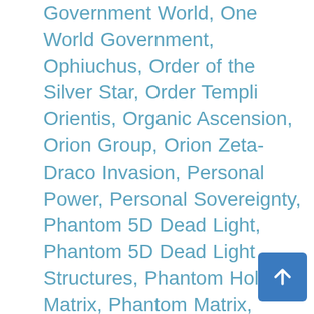Government World, One World Government, Ophiuchus, Order of the Silver Star, Order Templi Orientis, Organic Ascension, Orion Group, Orion Zeta-Draco Invasion, Personal Power, Personal Sovereignty, Phantom 5D Dead Light, Phantom 5D Dead Light Structures, Phantom Hole Matrix, Phantom Matrix, Photography, Planetary Protection, Portal Gateway, Possession, Power Elite, Prince of Hell, Prison Planet, Propaganda, Psychic Entity Conjuring, Psychic Self-Defense, Psycho-Spiritual Warfare, Psychopath Elite, Psychopathic Elite, Qabalah, Qlippoth, Racism, Racism Agenda, Reading an Entity Its Rights, Reincarnation Matrix, Religion, Reversal Metatronic Feeds, Reversal Violet Ray, Reversal Violet Ray Plasma, Ruling Elite, Rune Magic, Sananda, Satan, Satanic, Satanic Chabad, Satanic Elite, Satanic Entities, Satanic Forces, Satanic Possession, Satanic Ritual Abuse, Satanism, Satanists, Saturn, Saturnian Kabbalah, Sephiroth, Scrambling DNA Language, Sea Serpent, Secret Societies, Secret Society Rituals, Self-Protection, Self-Sovereignty, Sephiroth, Set, Seth, Sex Trafficking, Sexual